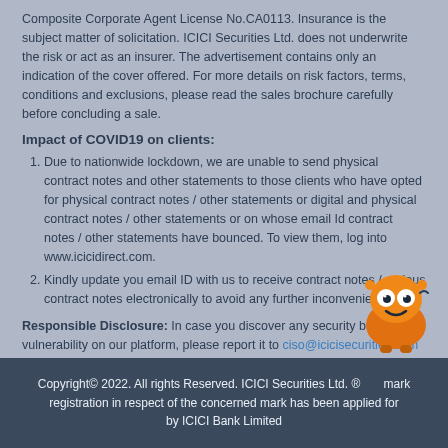Composite Corporate Agent License No.CA0113. Insurance is the subject matter of solicitation. ICICI Securities Ltd. does not underwrite the risk or act as an insurer. The advertisement contains only an indication of the cover offered. For more details on risk factors, terms, conditions and exclusions, please read the sales brochure carefully before concluding a sale.
Impact of COVID19 on clients:
Due to nationwide lockdown, we are unable to send physical contract notes and other statements to those clients who have opted for physical contract notes / other statements or digital and physical contract notes / other statements or on whose email Id contract notes / other statements have bounced. To view them, log into www.icicidirect.com.
Kindly update you email ID with us to receive contract notes / various contract notes electronically to avoid any further inconvenience.
Responsible Disclosure: In case you discover any security bug or vulnerability on our platform, please report it to ciso@icicisecurities.com to help us strengthen our cybe...
[Figure (illustration): Orange cartoon robot/mascot character (ICICI Securities mascot) in the bottom-right corner]
Copyright© 2022. All rights Reserved. ICICI Securities Ltd. ® Trademark registration in respect of the concerned mark has been applied for by ICICI Bank Limited